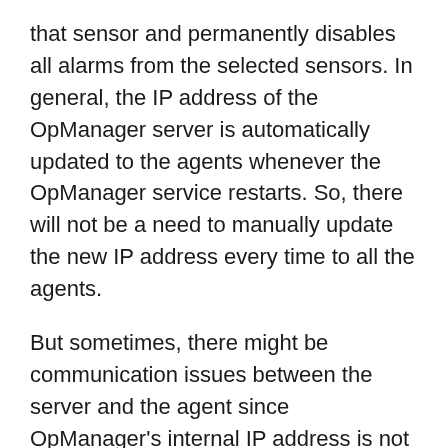that sensor and permanently disables all alarms from the selected sensors. In general, the IP address of the OpManager server is automatically updated to the agents whenever the OpManager service restarts. So, there will not be a need to manually update the new IP address every time to all the agents.
But sometimes, there might be communication issues between the server and the agent since OpManager's internal IP address is not freely accessible from agent-installed devices outside of your network and only the public NAT IP address is accessible. Sometimes even within your network, communication issues might result in the server IP not being updated properly to the